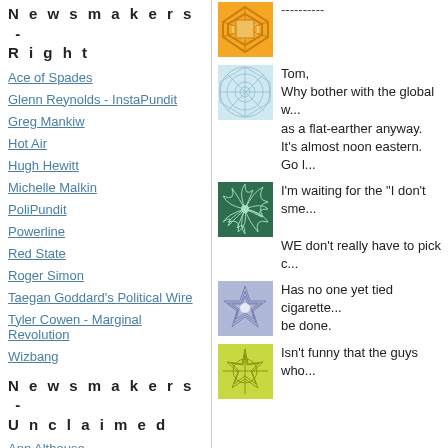Newsmakers - Right
Ace of Spades
Glenn Reynolds - InstaPundit
Greg Mankiw
Hot Air
Hugh Hewitt
Michelle Malkin
PoliPundit
Powerline
Red State
Roger Simon
Taegan Goddard's Political Wire
Tyler Cowen - Marginal Revolution
Wizbang
Newsmakers - Unclaimed
Ann Althouse
KC Johnson / Duke Lacrosse
[Figure (illustration): Orange geometric patterned avatar icon]
----------
[Figure (illustration): Light blue spiderweb patterned avatar icon]
Tom,
Why bother with the global w... as a flat-earther anyway.
It's almost noon eastern. Go l...
[Figure (illustration): Green spiral patterned avatar icon]
I'm waiting for the "I don't sme...
WE don't really have to pick c...
[Figure (illustration): Purple/blue geometric star patterned avatar icon]
Has no one yet tied cigarette...
be done.
[Figure (illustration): Yellow-green flower patterned avatar icon]
Isn't funny that the guys who...